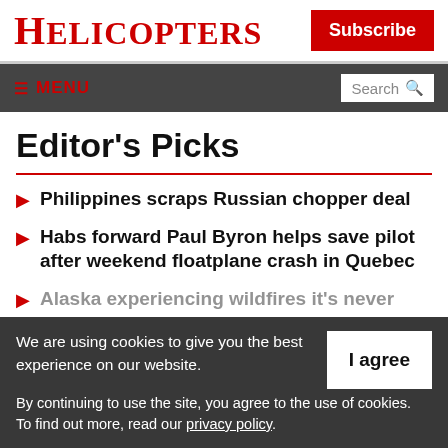HELICOPTERS
Subscribe
≡ MENU  Search
Editor's Picks
Philippines scraps Russian chopper deal
Habs forward Paul Byron helps save pilot after weekend floatplane crash in Quebec
Alaska experiencing wildfires it's never seen before
We are using cookies to give you the best experience on our website. By continuing to use the site, you agree to the use of cookies. To find out more, read our privacy policy.
I agree